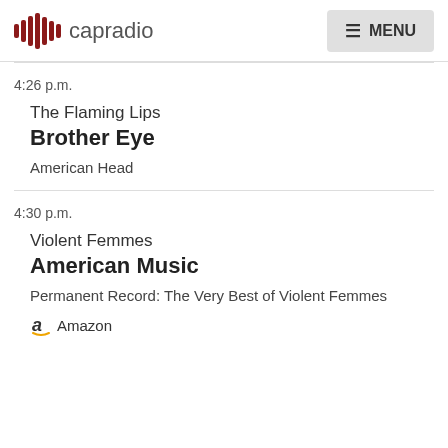capradio  MENU
4:26 p.m.
The Flaming Lips
Brother Eye
American Head
4:30 p.m.
Violent Femmes
American Music
Permanent Record: The Very Best of Violent Femmes
Amazon